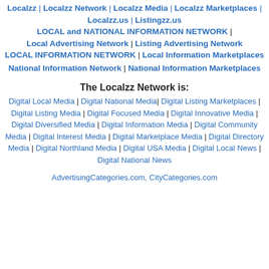Localzz | Localzz Network | Localzz Media | Localzz Marketplaces | Localzz.us | Listingzz.us
LOCAL and NATIONAL INFORMATION NETWORK | Local Advertising Network | Listing Advertising Network
LOCAL INFORMATION NETWORK | Local Information Marketplaces
National Information Network | National Information Marketplaces
The Localzz Network is:
Digital Local Media | Digital National Media | Digital Listing Marketplaces | Digital Listing Media | Digital Focused Media | Digital Innovative Media | Digital Diversified Media | Digital Information Media | Digital Community Media | Digital Interest Media | Digital Marketplace Media | Digital Directory Media | Digital Northland Media | Digital USA Media | Digital Local News | Digital National News
AdvertisingCategories.com, CityCategories.com